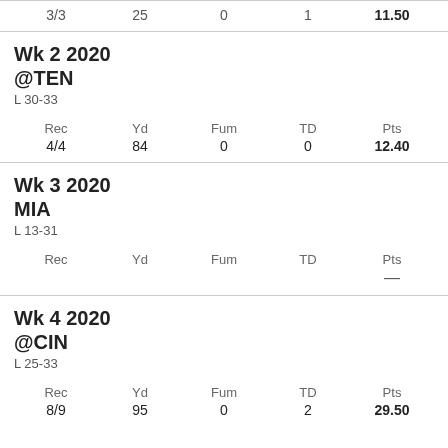| Rec | Yd | Fum | TD | Pts |
| --- | --- | --- | --- | --- |
| 3/3 | 25 | 0 | 1 | 11.50 |
Wk 2 2020
@TEN
L 30-33
| Rec | Yd | Fum | TD | Pts |
| --- | --- | --- | --- | --- |
| 4/4 | 84 | 0 | 0 | 12.40 |
Wk 3 2020
MIA
L 13-31
| Rec | Yd | Fum | TD | Pts |
| --- | --- | --- | --- | --- |
| — | — | — | — | — |
Wk 4 2020
@CIN
L 25-33
| Rec | Yd | Fum | TD | Pts |
| --- | --- | --- | --- | --- |
| 8/9 | 95 | 0 | 2 | 29.50 |